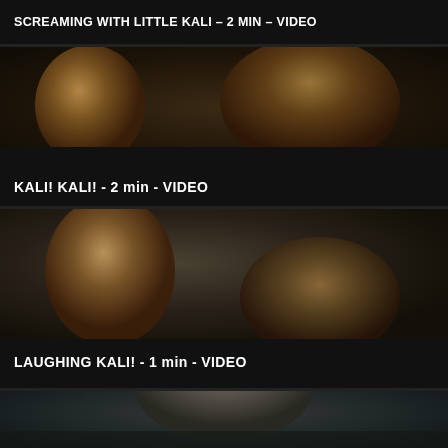SCREAMING WITH LITTLE KALI - 2 min - VIDEO
[Figure (photo): Video thumbnail showing two people - a young girl and a woman facing each other in low light, dark background]
KALI! KALI! - 2 min - VIDEO
[Figure (photo): Video thumbnail showing a young girl with pigtails smiling and a man in the background, outdoor setting]
LAUGHING KALI! - 1 min - VIDEO
[Figure (photo): Video thumbnail showing a person in a hat near rocks, partial view]